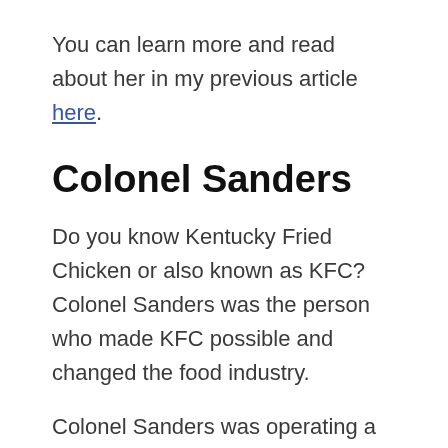You can learn more and read about her in my previous article here.
Colonel Sanders
Do you know Kentucky Fried Chicken or also known as KFC? Colonel Sanders was the person who made KFC possible and changed the food industry.
Colonel Sanders was operating a restaurant and business was good. That was until a highway was built to overpass his restaurant.